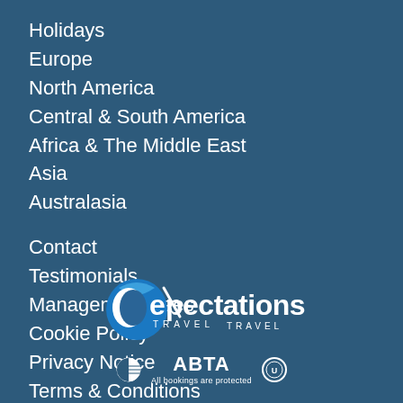Holidays
Europe
North America
Central & South America
Africa & The Middle East
Asia
Australasia
Contact
Testimonials
Management Fees
Cookie Policy
Privacy Notice
Terms & Conditions
[Figure (logo): Expectations Travel logo with blue crescent moon/globe graphic, stylized text 'eXpectations TRAVEL', ABTA badge and circular certification logo with text 'All bookings are protected']